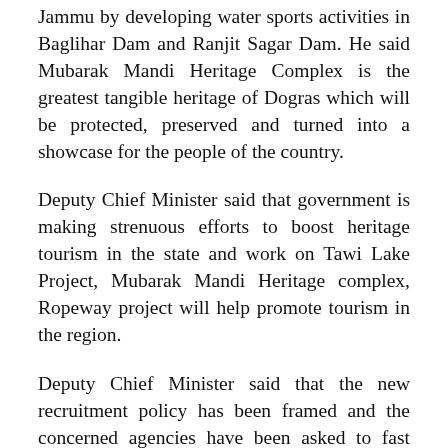Jammu by developing water sports activities in Baglihar Dam and Ranjit Sagar Dam. He said Mubarak Mandi Heritage Complex is the greatest tangible heritage of Dogras which will be protected, preserved and turned into a showcase for the people of the country.
Deputy Chief Minister said that government is making strenuous efforts to boost heritage tourism in the state and work on Tawi Lake Project, Mubarak Mandi Heritage complex, Ropeway project will help promote tourism in the region.
Deputy Chief Minister said that the new recruitment policy has been framed and the concerned agencies have been asked to fast track the recruitment process adding that